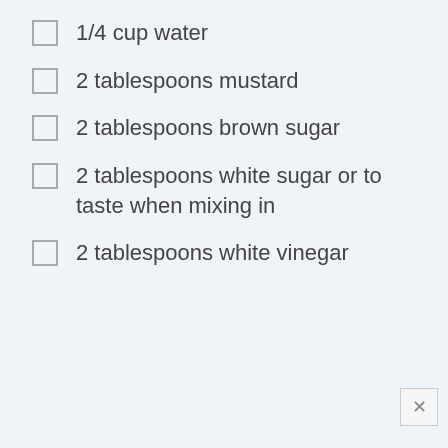1/4 cup water
2 tablespoons mustard
2 tablespoons brown sugar
2 tablespoons white sugar or to taste when mixing in
2 tablespoons white vinegar